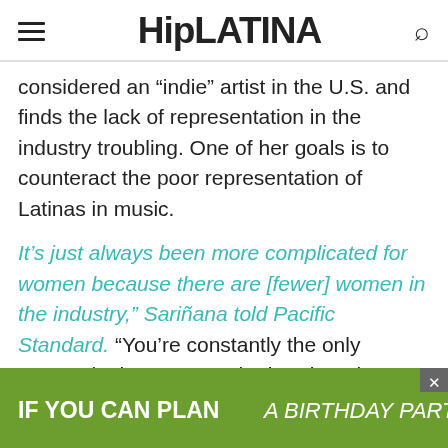HipLATINA
considered an “indie” artist in the U.S. and finds the lack of representation in the industry troubling. One of her goals is to counteract the poor representation of Latinas in music.
It’s just always been more complicated for women because there are [fewer] women in the industry,” Sariñana told Pacific Standard. “You’re constantly the only woman in the room, or the band, or the tour, or the meeting. It’s not healthy for us to not acknowledge that that happens.”
[Figure (infographic): Green advertisement banner with text IF YOU CAN PLAN A BIRTHDAY PARTY and a close (X) button]